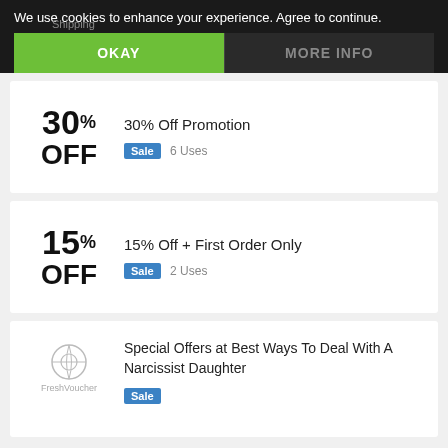We use cookies to enhance your experience. Agree to continue.
OKAY
MORE INFO
30% Off Promotion
Sale  6 Uses
15% Off + First Order Only
Sale  2 Uses
Special Offers at Best Ways To Deal With A Narcissist Daughter
Sale